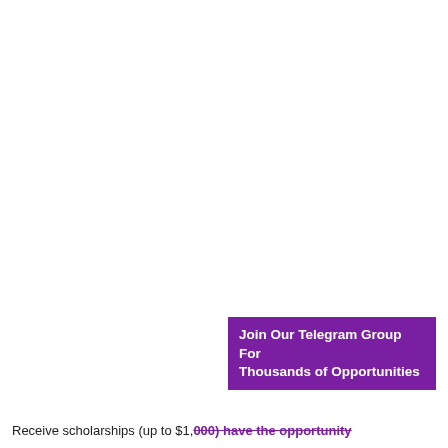[Figure (other): Telegram group promotional banner with purple background and white text reading 'Join Our Telegram Group For Thousands of Opportunities']
Receive scholarships (up to $1,000) have the opportunity